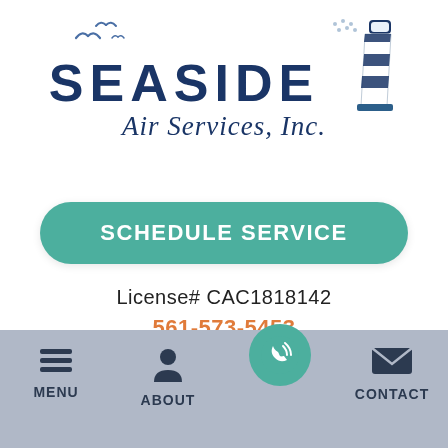[Figure (logo): Seaside Air Services Inc. logo with lighthouse graphic and seagulls]
SCHEDULE SERVICE
License# CAC1818142
561-573-5453
MENU   ABOUT   CONTACT